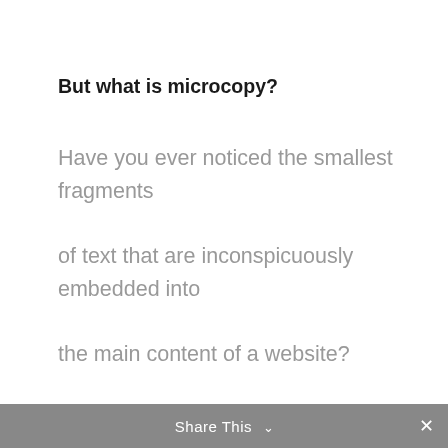But what is microcopy?
Have you ever noticed the smallest fragments of text that are inconspicuously embedded into the main content of a website?

Things like short, encouraging phrases in opt-in forms, cleverly crafted thank you messages
We use cookies on our website to give you the most relevant experience by remembering your preferences and repeat visits. By clicking “Accept All”, you consent to the use of ALL the cookies. However, you may visit "Cookie Settings" to provide a controlled consent.
Cookie Settings   Accept All
Share This ⌄  ×